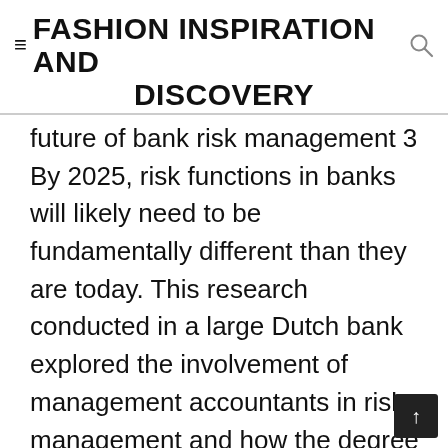FASHION INSPIRATION AND DISCOVERY
future of bank risk management 3 By 2025, risk functions in banks will likely need to be fundamentally different than they are today. This research conducted in a large Dutch bank explored the involvement of management accountants in risk management and how the degree of this involvement is influenced by their personality traits. Enterprise Risk Management in the Banking Sector: Macro-Prudential Regulation Incentives It is important to define risk before addressing the issue of risk